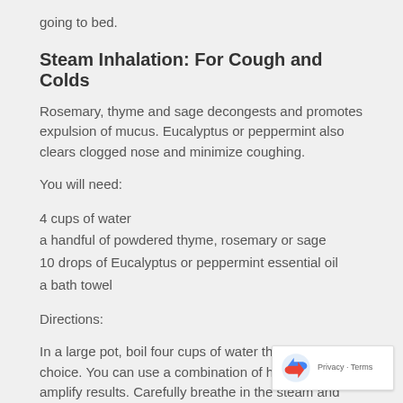going to bed.
Steam Inhalation: For Cough and Colds
Rosemary, thyme and sage decongests and promotes expulsion of mucus. Eucalyptus or peppermint also clears clogged nose and minimize coughing.
You will need:
4 cups of water
a handful of powdered thyme, rosemary or sage
10 drops of Eucalyptus or peppermint essential oil
a bath towel
Directions:
In a large pot, boil four cups of water then add your of choice. You can use a combination of herbs to h amplify results. Carefully breathe in the steam and